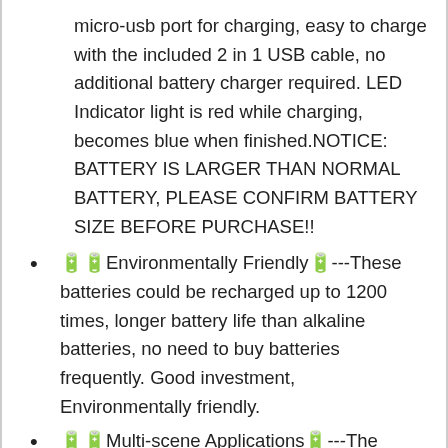micro-usb port for charging, easy to charge with the included 2 in 1 USB cable, no additional battery charger required. LED Indicator light is red while charging, becomes blue when finished.NOTICE: BATTERY IS LARGER THAN NORMAL BATTERY, PLEASE CONFIRM BATTERY SIZE BEFORE PURCHASE!!
🔋🔋Environmentally Friendly🔋---These batteries could be recharged up to 1200 times, longer battery life than alkaline batteries, no need to buy batteries frequently. Good investment, Environmentally friendly.
🔋🔋Multi-scene Applications🔋---The battery can be used in a variety of scenarios, such as Power bank, microphone, radio microphone, gamepad, laser pointer, flashlight, headlight, LED light, camera, toy and other 3.7v battery-powered electronic devices.
🔋🔋Safety Assurance🔋---Built-in integrated safety